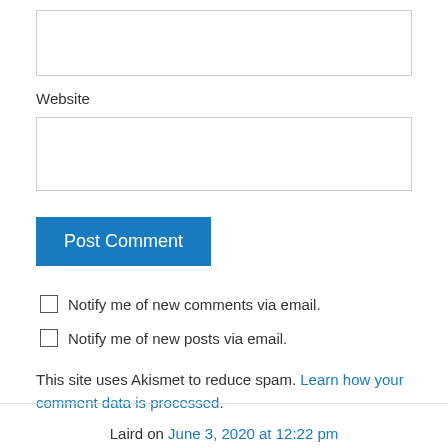Website
Post Comment
Notify me of new comments via email.
Notify me of new posts via email.
This site uses Akismet to reduce spam. Learn how your comment data is processed.
Laird on June 3, 2020 at 12:22 pm